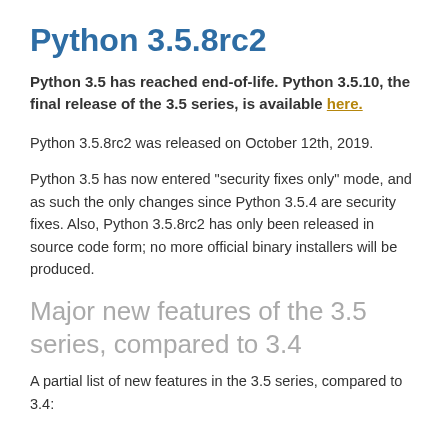Python 3.5.8rc2
Python 3.5 has reached end-of-life. Python 3.5.10, the final release of the 3.5 series, is available here.
Python 3.5.8rc2 was released on October 12th, 2019.
Python 3.5 has now entered "security fixes only" mode, and as such the only changes since Python 3.5.4 are security fixes. Also, Python 3.5.8rc2 has only been released in source code form; no more official binary installers will be produced.
Major new features of the 3.5 series, compared to 3.4
A partial list of new features in the 3.5 series, compared to 3.4: